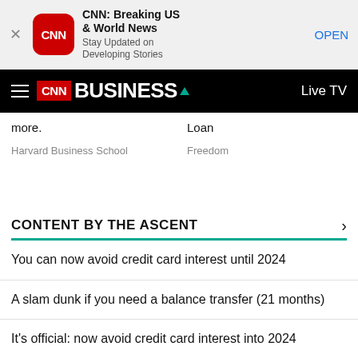[Figure (screenshot): CNN app banner with red CNN icon, title 'CNN: Breaking US & World News', subtitle 'Stay Updated on Developing Stories', and OPEN button]
CNN BUSINESS | Live TV
more.
Harvard Business School
Loan
Freedom
CONTENT BY THE ASCENT
You can now avoid credit card interest until 2024
A slam dunk if you need a balance transfer (21 months)
It's official: now avoid credit card interest into 2024
0% intro APR until 2024 is 100% insane